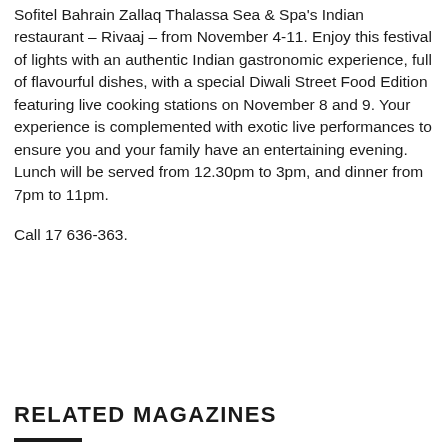Sofitel Bahrain Zallaq Thalassa Sea & Spa's Indian restaurant – Rivaaj – from November 4-11. Enjoy this festival of lights with an authentic Indian gastronomic experience, full of flavourful dishes, with a special Diwali Street Food Edition featuring live cooking stations on November 8 and 9. Your experience is complemented with exotic live performances to ensure you and your family have an entertaining evening. Lunch will be served from 12.30pm to 3pm, and dinner from 7pm to 11pm.
Call 17 636-363.
RELATED MAGAZINES